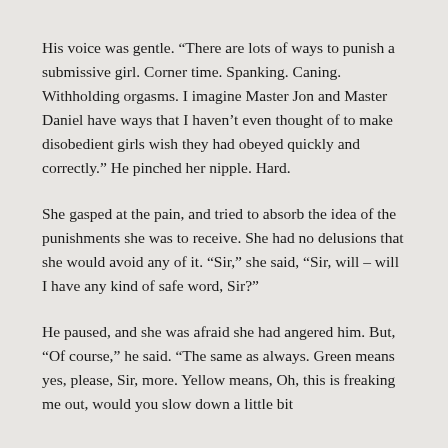His voice was gentle. “There are lots of ways to punish a submissive girl. Corner time. Spanking. Caning. Withholding orgasms. I imagine Master Jon and Master Daniel have ways that I haven’t even thought of to make disobedient girls wish they had obeyed quickly and correctly.” He pinched her nipple. Hard.
She gasped at the pain, and tried to absorb the idea of the punishments she was to receive. She had no delusions that she would avoid any of it. “Sir,” she said, “Sir, will – will I have any kind of safe word, Sir?”
He paused, and she was afraid she had angered him. But, “Of course,” he said. “The same as always. Green means yes, please, Sir, more. Yellow means, Oh, this is freaking me out, would you slow down a little bit